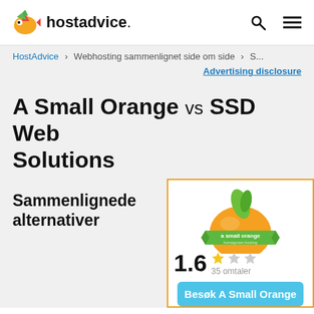hostadvice.
HostAdvice > Webhosting sammenlignet side om side > S...
Advertising disclosure
A Small Orange vs SSD Web Solutions
Sammenlignede alternativer
[Figure (logo): A Small Orange hosting brand logo — orange fruit with green leaf and green ribbon banner reading 'a small orange homegrown hosting']
1.6  35 omtaler
Besøk A Small Orange